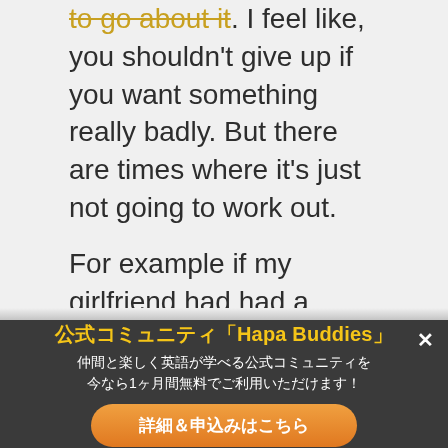to go about it. I feel like, you shouldn't give up if you want something really badly. But there are times where it's just not going to work out.
For example if my girlfriend had had a boyfriend, that's when it's time to throw in the towel.
Just give up. It's—it's not
[Figure (screenshot): Dark overlay popup banner with close (×) button. Title in yellow: 公式コミュニティ「Hapa Buddies」. Subtitle in white: 仲間と楽しく英語が学べる公式コミュニティを 今なら1ヶ月間無料でご利用いただけます！. Orange rounded button: 詳細＆申込みはこちら]
on... if you th... persistence definitely can pay off. But when you've